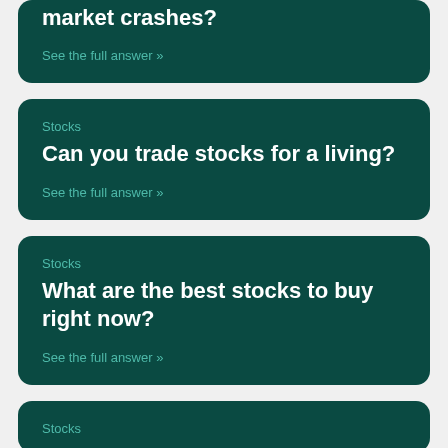market crashes?
See the full answer »
Stocks
Can you trade stocks for a living?
See the full answer »
Stocks
What are the best stocks to buy right now?
See the full answer »
Stocks